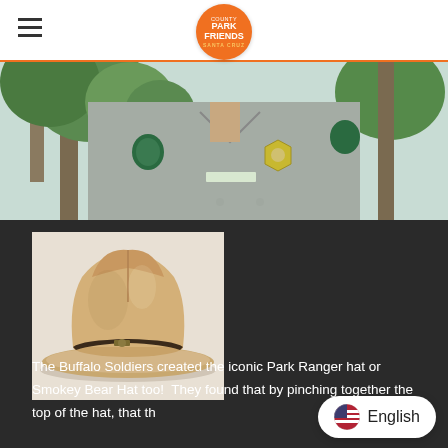[Figure (logo): County Park Friends Santa Cruz logo — orange circle with white text]
[Figure (photo): Park ranger in grey uniform with badge and patches, green trees in background]
[Figure (photo): Tan/khaki Smokey Bear / Park Ranger campaign hat with dark leather band on white background]
The Buffalo Soldiers created the iconic Park Ranger hat or Smokey Bear Hat too!  They found that by pinching together the top of the hat, that th[ey could get out] of it faster.  I can personally vouch for the brilliant design,
[Figure (other): English language selector button with US flag emoji]